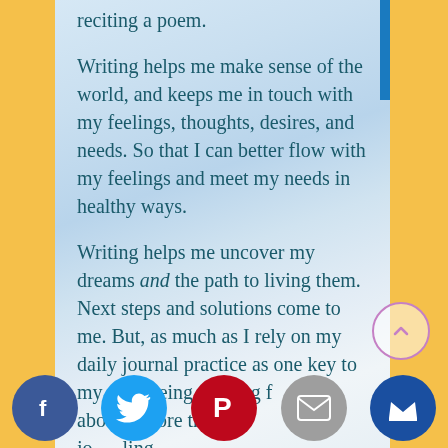reciting a poem.
Writing helps me make sense of the world, and keeps me in touch with my feelings, thoughts, desires, and needs. So that I can better flow with my feelings and meet my needs in healthy ways.
Writing helps me uncover my dreams and the path to living them. Next steps and solutions come to me. But, as much as I rely on my daily journal practice as one key to my well-being, writing for is about more than journaling.